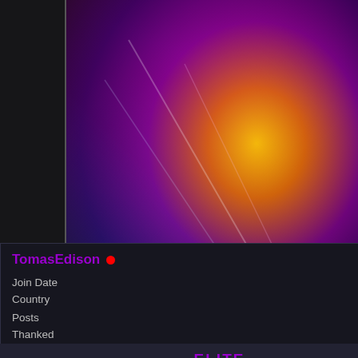[Figure (illustration): Gaming avatar/profile artwork with colorful explosion of light, neon colors in purple, orange, yellow and blue on dark background. Shows username 'TomasEdison' with GM/ET and STAFF labels and a circular emblem.]
שויתי ה' לנגדי תמיד 🙂
| Join Date | Oct 2015 |
| Country | [Israel flag] |
| Posts | 2,625 |
| Thanked | 1,962 |
| Thanks | 892 |
ELITE
Congratulations to everyone who made it to the match
Check the Bracket fo
FINA
Aurelia vs E
BRONZE
straitdab4wz vs
The deadline for the finals and bronze match is Saturday, September 18th 2021.